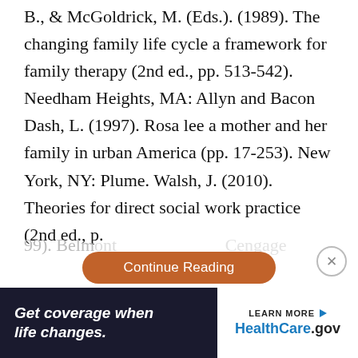B., & McGoldrick, M. (Eds.). (1989). The changing family life cycle a framework for family therapy (2nd ed., pp. 513-542). Needham Heights, MA: Allyn and Bacon Dash, L. (1997). Rosa lee a mother and her family in urban America (pp. 17-253). New York, NY: Plume. Walsh, J. (2010). Theories for direct social work practice (2nd ed., p. 99). Belm... Cengage
[Figure (other): Orange 'Continue Reading' button overlay with a close (X) circle button to the right]
[Figure (other): Advertisement banner: 'Get coverage when life changes.' with HealthCare.gov logo and LEARN MORE button on dark navy background]